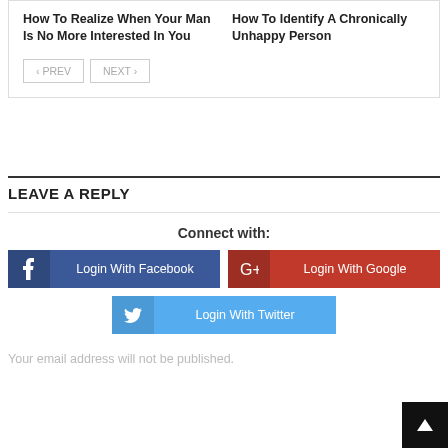How To Realize When Your Man Is No More Interested In You
How To Identify A Chronically Unhappy Person
« PREV   NEXT »
LEAVE A REPLY
Connect with:
Login With Facebook
Login With Google
Login With Twitter
Your email address will not be published.